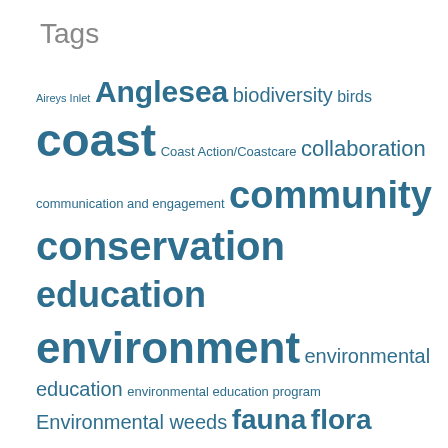Tags
[Figure (infographic): Tag cloud with words of varying sizes in dark teal/blue color on white background. Words include: Aireys Inlet, Anglesea, biodiversity, birds, coast, Coast Action/Coastcare, collaboration, communication and engagement, community, conservation, education, environment, environmental education, environmental education program, Environmental weeds, fauna, flora, GORCC, Great Ocean Road, hooded plover, Jan Juc, litter, Lorne, projects, protecting the coast, schools, Torquay, tourism. Larger words indicate higher frequency/importance.]